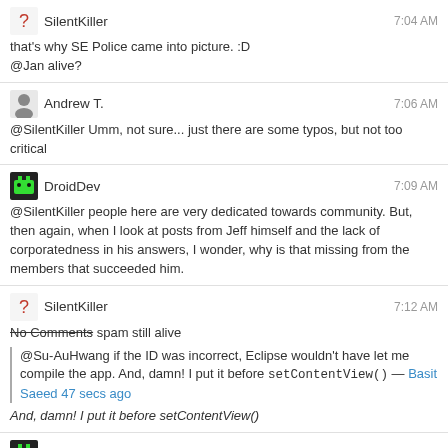SilentKiller 7:04 AM — that's why SE Police came into picture. :D @Jan alive?
Andrew T. 7:06 AM — @SilentKiller Umm, not sure... just there are some typos, but not too critical
DroidDev 7:09 AM — @SilentKiller people here are very dedicated towards community. But, then again, when I look at posts from Jeff himself and the lack of corporatedness in his answers, I wonder, why is that missing from the members that succeeded him.
SilentKiller 7:12 AM — No Comments spam still alive | @Su-AuHwang if the ID was incorrect, Eclipse wouldn't have let me compile the app. And, damn! I put it before setContentView() — Basit Saeed 47 secs ago | And, damn! I put it before setContentView()
DroidDev 7:15 AM — @SilentKiller if OP doesn't delete, flag it as "no-repro" or vtc, if it has some similar reason and there must be a dupe for it
Infinite Recursion 7:22 AM — @DroidDev nothing is really missing, maybe no one is so verbose about it anymore because the volume of stuff that needs cleaning has increased massively over time, e.g drupal.se didn't exist when those posts were written, so everyone is busy cleaning ...